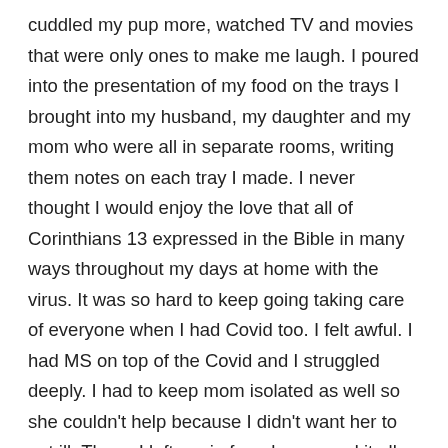cuddled my pup more, watched TV and movies that were only ones to make me laugh. I poured into the presentation of my food on the trays I brought into my husband, my daughter and my mom who were all in separate rooms, writing them notes on each tray I made. I never thought I would enjoy the love that all of Corinthians 13 expressed in the Bible in many ways throughout my days at home with the virus. It was so hard to keep going taking care of everyone when I had Covid too. I felt awful. I had MS on top of the Covid and I struggled deeply. I had to keep mom isolated as well so she couldn't help because I didn't want her to get ill. Then...I left again from home, and it all changed.
I was surprised by the fear and the emotional turmoil I felt over being there in the ED yet again and then transferred to another hospital. The Covid precautions